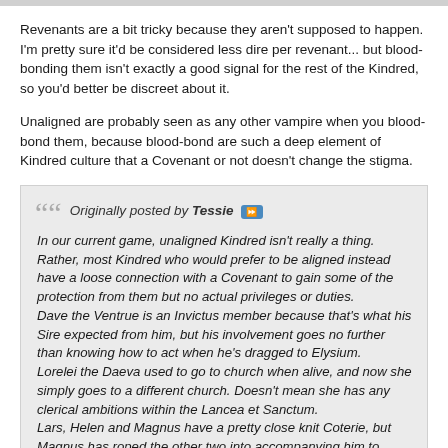Revenants are a bit tricky because they aren't supposed to happen. I'm pretty sure it'd be considered less dire per revenant... but blood-bonding them isn't exactly a good signal for the rest of the Kindred, so you'd better be discreet about it.
Unaligned are probably seen as any other vampire when you blood-bond them, because blood-bond are such a deep element of Kindred culture that a Covenant or not doesn't change the stigma.
Originally posted by Tessie ⏩ In our current game, unaligned Kindred isn't really a thing. Rather, most Kindred who would prefer to be aligned instead have a loose connection with a Covenant to gain some of the protection from them but no actual privileges or duties. Dave the Ventrue is an Invictus member because that's what his Sire expected from him, but his involvement goes no further than knowing how to act when he's dragged to Elysium. Lorelei the Daeva used to go to church when alive, and now she simply goes to a different church. Doesn't mean she has any clerical ambitions within the Lancea et Sanctum. Lars, Helen and Magnus have a pretty close knit Coterie, but Magnus has roped the other two into accompanying him to Firebrand meetings. Lars and Helen are sympathetic to the cause, especially if anyone asks, but mostly they just hang around for the social aspect. None of those examples would have any dots of Status or any